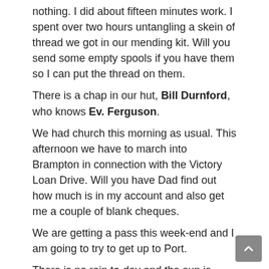nothing. I did about fifteen minutes work. I spent over two hours untangling a skein of thread we got in our mending kit. Will you send some empty spools if you have them so I can put the thread on them.
There is a chap in our hut, Bill Durnford, who knows Ev. Ferguson.
We had church this morning as usual. This afternoon we have to march into Brampton in connection with the Victory Loan Drive. Will you have Dad find out how much is in my account and also get me a couple of blank cheques.
We are getting a pass this week-end and I am going to try to get up to Port.
There is no rain to-day and the sun is quite bright and warm.
Wish my camera had come as it is a good day for taking pictures.
Some new fellows came in on Friday. They are mostly from the Artillery. The radio we got for the hut is out of order allready but there is another in the hut and it is working fine.